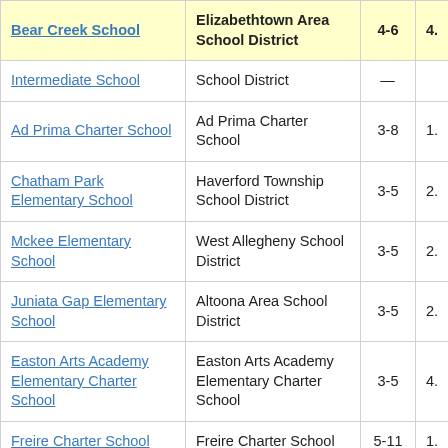| School | District | Grades | Score |
| --- | --- | --- | --- |
| Bear Creek School | Elizabethtown Area School District | 4-6 | 4.… |
| Intermediate School | School District | — | — |
| Ad Prima Charter School | Ad Prima Charter School | 3-8 | 1.… |
| Chatham Park Elementary School | Haverford Township School District | 3-5 | 2.… |
| Mckee Elementary School | West Allegheny School District | 3-5 | 2.… |
| Juniata Gap Elementary School | Altoona Area School District | 3-5 | 2.… |
| Easton Arts Academy Elementary Charter School | Easton Arts Academy Elementary Charter School | 3-5 | 4.… |
| Freire Charter School | Freire Charter School | 5-11 | 1.… |